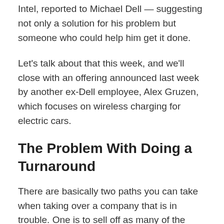Intel, reported to Michael Dell — suggesting not only a solution for his problem but someone who could help him get it done.
Let's talk about that this week, and we'll close with an offering announced last week by another ex-Dell employee, Alex Gruzen, which focuses on wireless charging for electric cars.
The Problem With Doing a Turnaround
There are basically two paths you can take when taking over a company that is in trouble. One is to sell off as many of the assets as you can, lay off as many of the workers as possible, and then package the company for sale as a crippled whole or for its assets. Operators like Carl Icahn take the latter path, which has proven to be very lucrative, but even he says the system he is